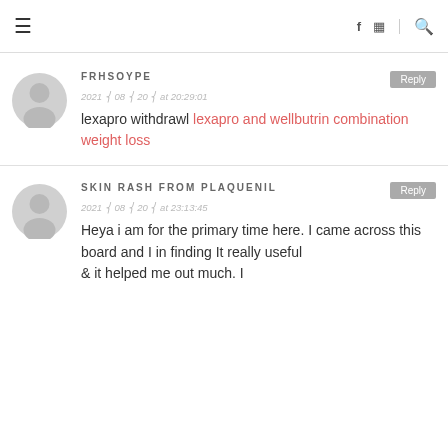≡  f  ⊡  🔍
FRHSOYPE
2021 ▸ 08 ▸ 20 ▸ at 20:29:01
lexapro withdrawl lexapro and wellbutrin combination weight loss
SKIN RASH FROM PLAQUENIL
2021 ▸ 08 ▸ 20 ▸ at 23:13:45
Heya i am for the primary time here. I came across this board and I in finding It really useful
& it helped me out much. I